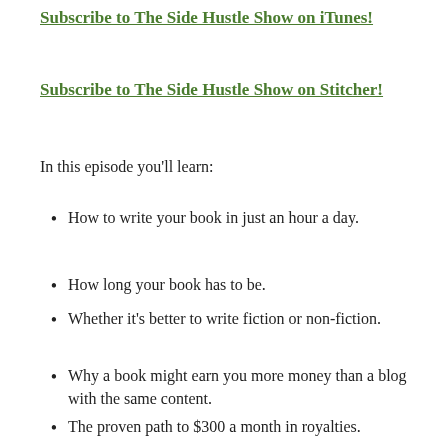Subscribe to The Side Hustle Show on iTunes!
Subscribe to The Side Hustle Show on Stitcher!
In this episode you'll learn:
How to write your book in just an hour a day.
How long your book has to be.
Whether it's better to write fiction or non-fiction.
Why a book might earn you more money than a blog with the same content.
The proven path to $300 a month in royalties.
Wh... (continues off page)